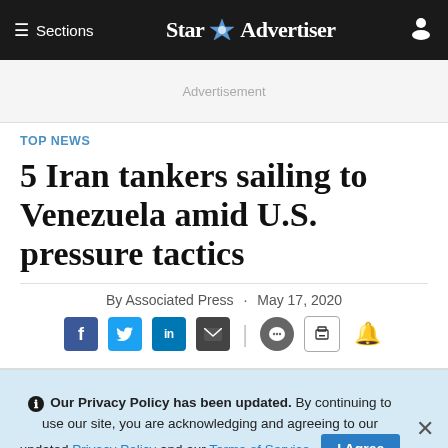≡ Sections   Star Advertiser
Advertisement
TOP NEWS
5 Iran tankers sailing to Venezuela amid U.S. pressure tactics
By Associated Press · May 17, 2020
Our Privacy Policy has been updated. By continuing to use our site, you are acknowledging and agreeing to our updated Privacy Policy and our Terms of Service. I Agree